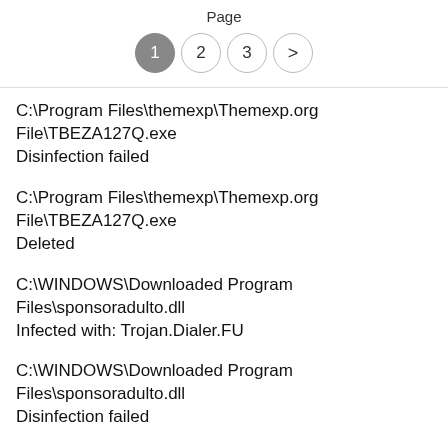Page
C:\Program Files\themexp\Themexp.org File\TBEZA127Q.exe
Disinfection failed
C:\Program Files\themexp\Themexp.org File\TBEZA127Q.exe
Deleted
C:\WINDOWS\Downloaded Program Files\sponsoradulto.dll
Infected with: Trojan.Dialer.FU
C:\WINDOWS\Downloaded Program Files\sponsoradulto.dll
Disinfection failed
C:\WINDOWS\Downloaded Program